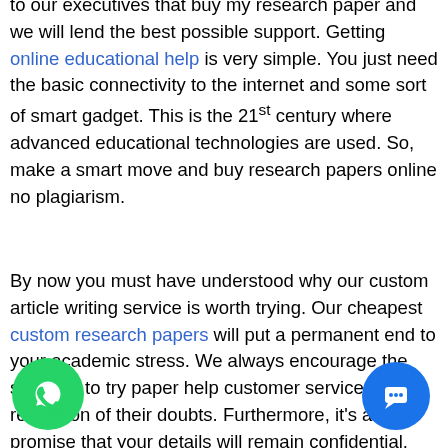to our executives that buy my research paper and we will lend the best possible support. Getting online educational help is very simple. You just need the basic connectivity to the internet and some sort of smart gadget. This is the 21st century where advanced educational technologies are used. So, make a smart move and buy research papers online no plagiarism.
By now you must have understood why our custom article writing service is worth trying. Our cheapest custom research papers will put a permanent end to your academic stress. We always encourage the students to try paper help customer service for the resolution of their doubts. Furthermore, it's a promise that your details will remain confidential. We maintain 100% privacy